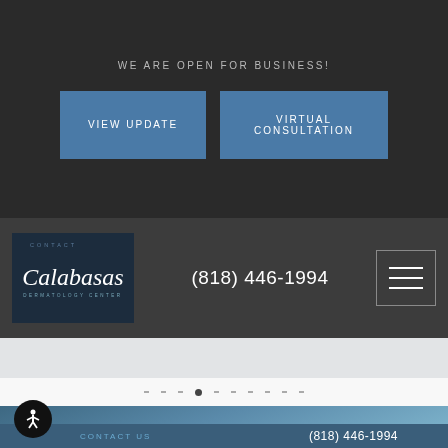WE ARE OPEN FOR BUSINESS!
VIEW UPDATE
VIRTUAL CONSULTATION
[Figure (logo): Calabasas Dermatology Center logo with cursive script on dark navy background]
(818) 446-1994
[Figure (other): Hamburger menu icon with three horizontal lines in a bordered box]
[Figure (photo): Hero image with blue-toned skin/hair texture background featuring large cursive Calabasas script]
CONTACT US
(818) 446-1994